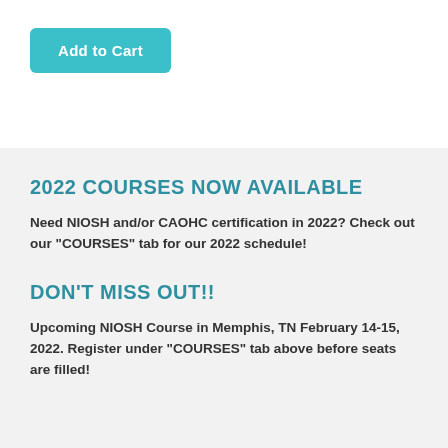[Figure (other): Add to Cart button — teal rounded rectangle with white bold text]
2022 COURSES NOW AVAILABLE
Need NIOSH and/or CAOHC certification in 2022?  Check out our "COURSES" tab for our 2022 schedule!
DON'T MISS OUT!!
Upcoming NIOSH Course in Memphis, TN February 14-15, 2022.  Register under "COURSES" tab above before seats are filled!